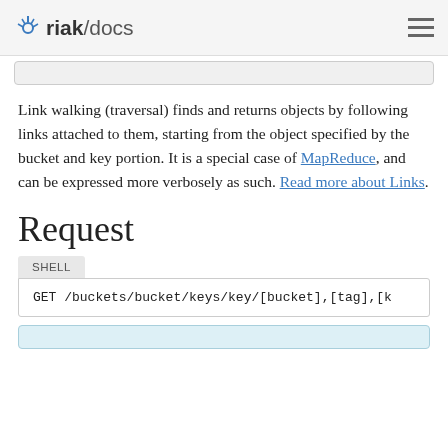riak/docs
Link walking (traversal) finds and returns objects by following links attached to them, starting from the object specified by the bucket and key portion. It is a special case of MapReduce, and can be expressed more verbosely as such. Read more about Links.
Request
SHELL
GET /buckets/bucket/keys/key/[bucket],[tag],[k